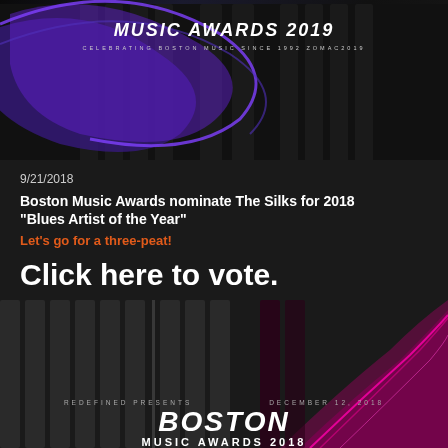[Figure (photo): Boston Music Awards 2019 promotional banner with blue swoosh design on dark background]
9/21/2018
Boston Music Awards nominate The Silks for 2018 “Blues Artist of the Year”
Let’s go for a three-peat!
Click here to vote.
[Figure (photo): Boston Music Awards 2018 promotional banner with pink/magenta swoosh design on dark background showing stacked speaker grilles]